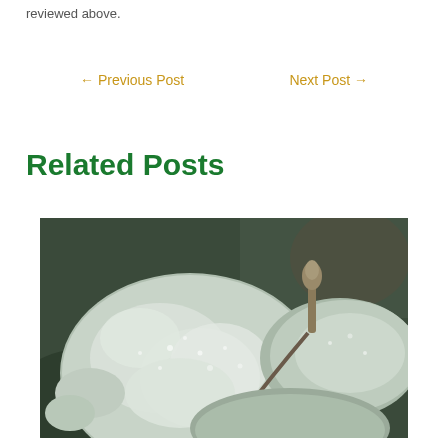reviewed above.
← Previous Post   Next Post →
Related Posts
[Figure (photo): Close-up photograph of frosted plant leaves covered in white frost crystals, with a green bud visible in the upper right area. Dark blurred background.]